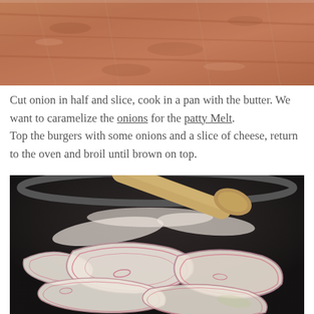[Figure (photo): Close-up of raw ground meat patty, brownish-pink texture filling the frame.]
Cut onion in half and slice, cook in a pan with the butter. We want to caramelize the onions for the patty Melt.
Top the burgers with some onions and a slice of cheese, return to the oven and broil until brown on top.
[Figure (photo): Sliced red onions cooking in a dark skillet with a wooden spoon, onions still raw and glistening.]